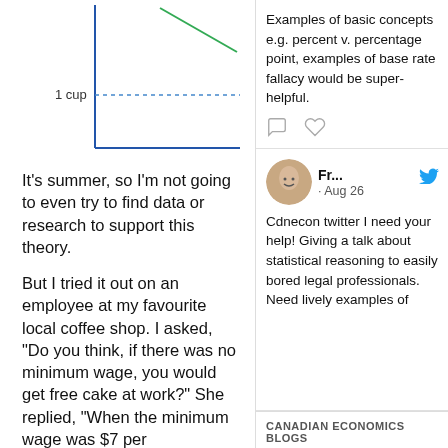[Figure (continuous-plot): Partial line chart showing two lines (blue and green diagonal) with a horizontal dotted reference line labeled '1 cup', set against blue axes.]
It's summer, so I'm not going to even try to find data or research to support this theory.
But I tried it out on an employee at my favourite local coffee shop. I asked, "Do you think, if there was no minimum wage, you would get free cake at work?" She replied, "When the minimum wage was $7 per
Examples of basic concepts e.g. percent v. percentage point, examples of base rate fallacy would be super-helpful.
[Figure (other): Two speech bubble / comment icons indicating social interaction.]
Fr... · Aug 26
Cdnecon twitter I need your help! Giving a talk about statistical reasoning to easily bored legal professionals. Need lively examples of
CANADIAN ECONOMICS BLOGS